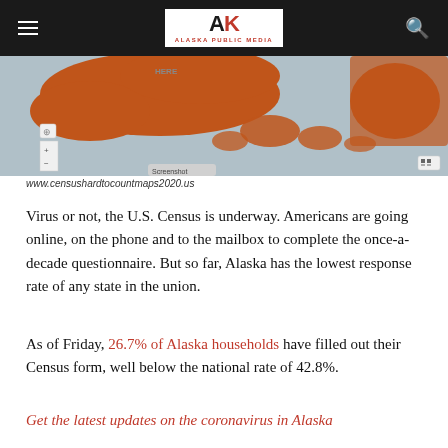Alaska Public Media
[Figure (map): Map showing Alaska census hard-to-count areas highlighted in orange/brown, from www.censushardtocountmaps2020.us]
www.censushardtocountmaps2020.us
Virus or not, the U.S. Census is underway. Americans are going online, on the phone and to the mailbox to complete the once-a-decade questionnaire. But so far, Alaska has the lowest response rate of any state in the union.
As of Friday, 26.7% of Alaska households have filled out their Census form, well below the national rate of 42.8%.
Get the latest updates on the coronavirus in Alaska